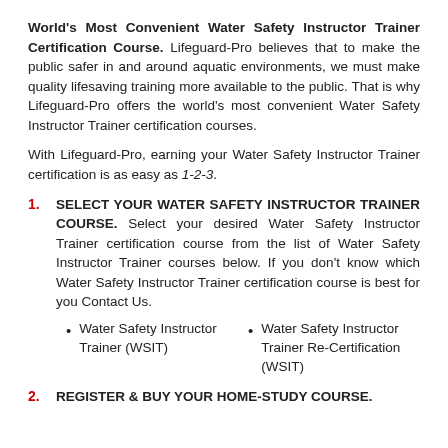World's Most Convenient Water Safety Instructor Trainer Certification Course. Lifeguard-Pro believes that to make the public safer in and around aquatic environments, we must make quality lifesaving training more available to the public. That is why Lifeguard-Pro offers the world's most convenient Water Safety Instructor Trainer certification courses.
With Lifeguard-Pro, earning your Water Safety Instructor Trainer certification is as easy as 1-2-3.
SELECT YOUR WATER SAFETY INSTRUCTOR TRAINER COURSE. Select your desired Water Safety Instructor Trainer certification course from the list of Water Safety Instructor Trainer courses below. If you don't know which Water Safety Instructor Trainer certification course is best for you Contact Us.
Water Safety Instructor Trainer (WSIT)
Water Safety Instructor Trainer Re-Certification (WSIT)
REGISTER & BUY YOUR HOME-STUDY COURSE.